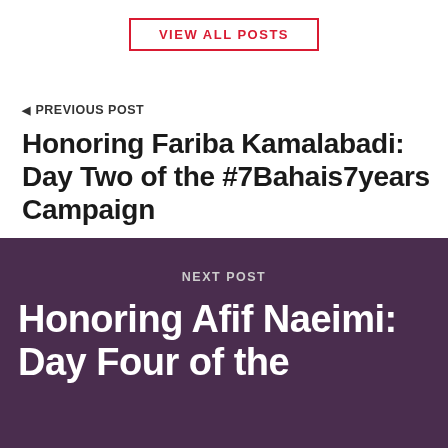VIEW ALL POSTS
PREVIOUS POST
Honoring Fariba Kamalabadi: Day Two of the #7Bahais7years Campaign
NEXT POST
Honoring Afif Naeimi: Day Four of the